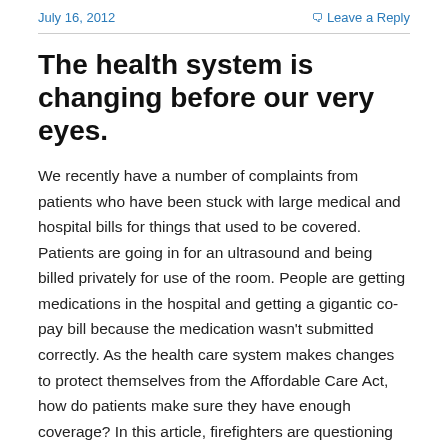July 16, 2012    Leave a Reply
The health system is changing before our very eyes.
We recently have a number of complaints from patients who have been stuck with large medical and hospital bills for things that used to be covered. Patients are going in for an ultrasound and being billed privately for use of the room. People are getting medications in the hospital and getting a gigantic co-pay bill because the medication wasn't submitted correctly. As the health care system makes changes to protect themselves from the Affordable Care Act, how do patients make sure they have enough coverage? In this article, firefighters are questioning which coverage will be better, the one offered by the government